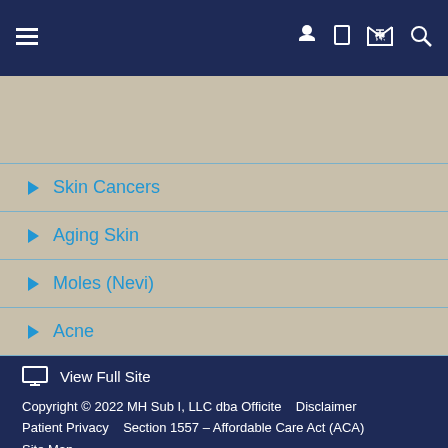Navigation bar with hamburger menu, phone, and other icons
Skin Cancers
Aging Skin
Moles (Nevi)
Acne
View Full Site
Copyright © 2022 MH Sub I, LLC dba Officite   Disclaimer
Patient Privacy   Section 1557 – Affordable Care Act (ACA)
Site Map